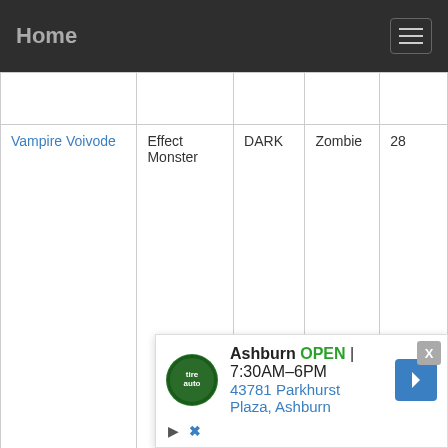Home
| Name | Type | Attribute | Race | ATK |
| --- | --- | --- | --- | --- |
|  |  |  |  |  |
| Vampire Voivode | Effect Monster | DARK | Zombie | 28 |
| Van'Dalgyon the Dark Dragon Lord | Effect Monster | DARK | Dragon | 28 |
| Vanguard of the Underground |  |  |  | 26 |
[Figure (screenshot): Advertisement overlay showing Tire Auto store in Ashburn, OPEN 7:30AM-6PM, 43781 Parkhurst Plaza, Ashburn]